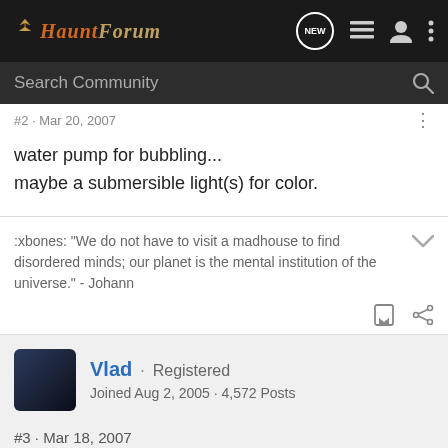HauntForum
Search Community
water pump for bubbling...
maybe a submersible light(s) for color.
:xbones: "We do not have to visit a madhouse to find disordered minds; our planet is the mental institution of the universe." - Johann
Vlad · Registered
Joined Aug 2, 2005 · 4,572 Posts
#3 · Mar 18, 2007